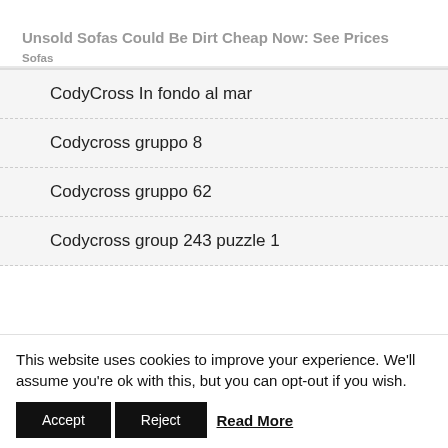Unsold Sofas Could Be Dirt Cheap Now: See Prices
Sofas
CodyCross In fondo al mar
Codycross gruppo 8
Codycross gruppo 62
Codycross group 243 puzzle 1
This website uses cookies to improve your experience. We'll assume you're ok with this, but you can opt-out if you wish.
Accept  Reject  Read More